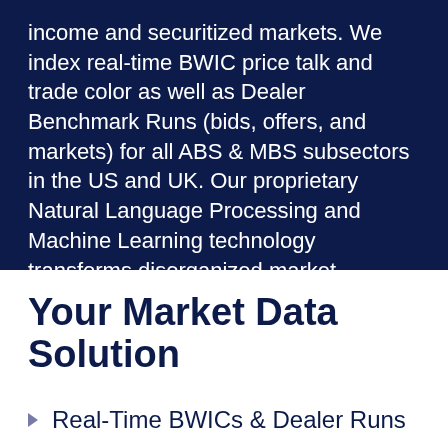income and securitized markets. We index real-time BWIC price talk and trade color as well as Dealer Benchmark Runs (bids, offers, and markets) for all ABS & MBS subsectors in the US and UK. Our proprietary Natural Language Processing and Machine Learning technology transforms disorganized market observations into actionable market data and insight.
Your Market Data Solution
Real-Time BWICs & Dealer Runs